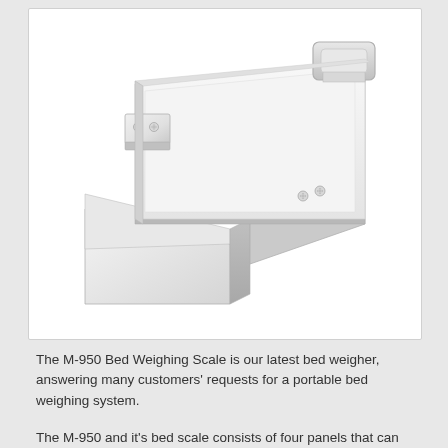[Figure (photo): A white M-950 Bed Weighing Scale device photographed from a slightly elevated angle. It is a flat, rectangular weighing platform with a handle on the upper right, two visible screws/bolts on the upper left and lower right, and an extended pull-out tray/platform on the lower left. The device is entirely white/light gray.]
The M-950 Bed Weighing Scale is our latest bed weigher, answering many customers' requests for a portable bed weighing system.
The M-950 and it's bed scale consists of four panels that can be...